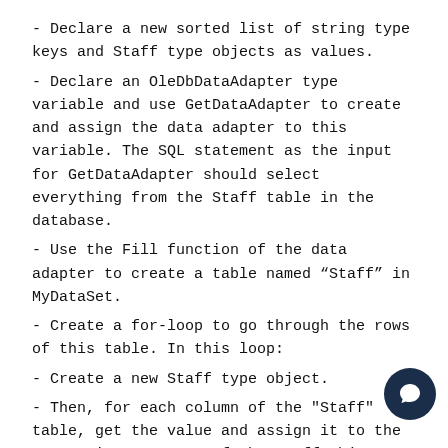- Declare a new sorted list of string type keys and Staff type objects as values.
- Declare an OleDbDataAdapter type variable and use GetDataAdapter to create and assign the data adapter to this variable. The SQL statement as the input for GetDataAdapter should select everything from the Staff table in the database.
- Use the Fill function of the data adapter to create a table named "Staff" in MyDataSet.
- Create a for-loop to go through the rows of this table. In this loop:
- Create a new Staff type object.
- Then, for each column of the "Staff" table, get the value and assign it to the respective property of the Staff object (with one line of code for each column).
- Create a key string by concatenating the First and La properties of the Staff object together with the string ", " (a comma and a space).